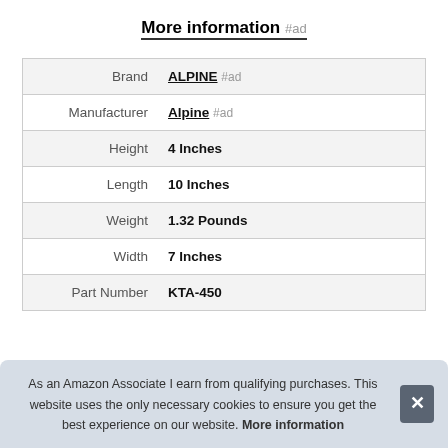More information #ad
| Attribute | Value |
| --- | --- |
| Brand | ALPINE #ad |
| Manufacturer | Alpine #ad |
| Height | 4 Inches |
| Length | 10 Inches |
| Weight | 1.32 Pounds |
| Width | 7 Inches |
| Part Number | KTA-450 |
As an Amazon Associate I earn from qualifying purchases. This website uses the only necessary cookies to ensure you get the best experience on our website. More information